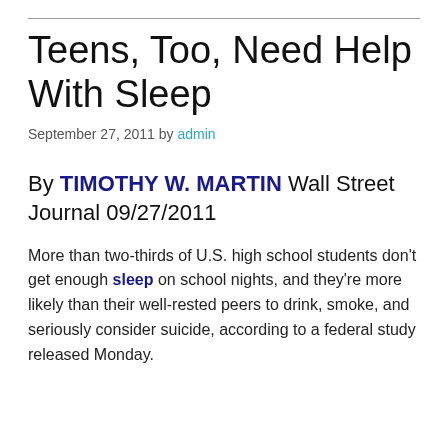Teens, Too, Need Help With Sleep
September 27, 2011 by admin
By TIMOTHY W. MARTIN Wall Street Journal 09/27/2011
More than two-thirds of U.S. high school students don't get enough sleep on school nights, and they're more likely than their well-rested peers to drink, smoke, and seriously consider suicide, according to a federal study released Monday.